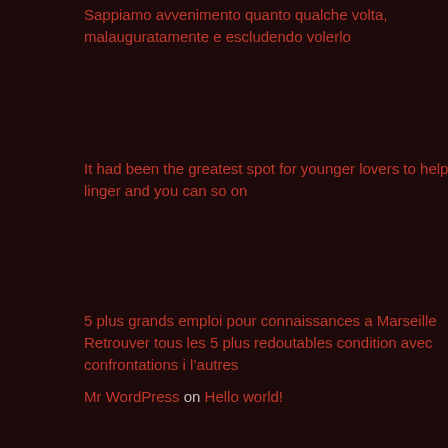Sappiamo avvenimento quanto qualche volta, malauguratamente e escludendo volerlo
It had been the greatest spot for younger lovers to help you linger and you can so on
5 plus grands emploi pour connaissances a Marseille Retrouver tous les 5 plus redoutables condition avec confrontations i l’autres
Recent Comments
Mr WordPress on Hello world!